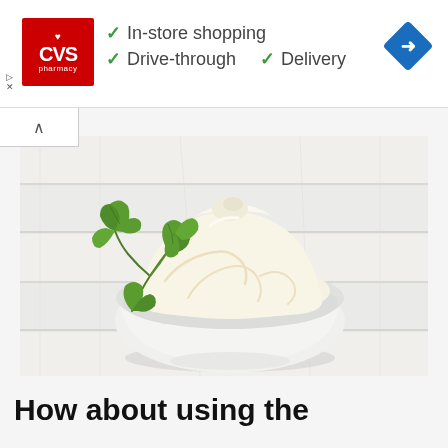[Figure (advertisement): CVS Pharmacy advertisement banner with logo, checkmarks listing In-store shopping, Drive-through, and Delivery options, plus a blue navigation direction diamond icon]
[Figure (photo): A white bowl of mayonnaise with a swirled top and a fresh parsley garnish on a white wooden surface]
How about using the